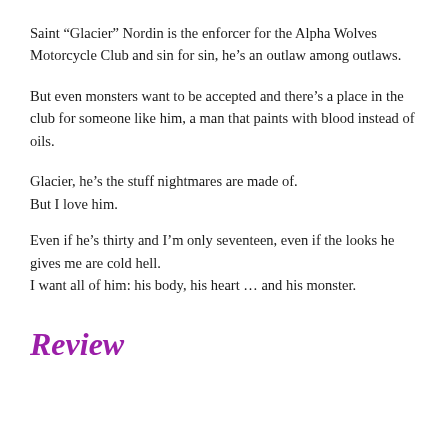Saint “Glacier” Nordin is the enforcer for the Alpha Wolves Motorcycle Club and sin for sin, he’s an outlaw among outlaws.
But even monsters want to be accepted and there’s a place in the club for someone like him, a man that paints with blood instead of oils.
Glacier, he’s the stuff nightmares are made of.
But I love him.
Even if he’s thirty and I’m only seventeen, even if the looks he gives me are cold hell.
I want all of him: his body, his heart … and his monster.
Review